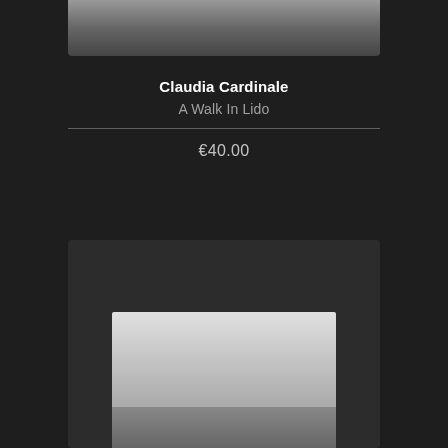[Figure (photo): Partial view of a black and white photograph showing legs/feet of a person walking, cropped at the top of the page]
Claudia Cardinale
A Walk In Lido
€40.00
[Figure (photo): A black and white photograph partially visible at the bottom of the page, showing a misty or overcast outdoor scene with structures at the bottom]